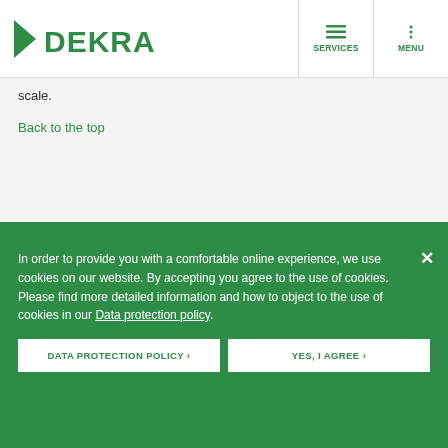DEKRA — SERVICES | MENU
scale.
Back to the top
The customer consents to the jurisdiction of the High Court of South Africa, North Gauteng Division, Pretoria in the event that legal action is instituted by DEKRA against the customer in terms of these terms.
Back to the top
In order to provide you with a comfortable online experience, we use cookies on our website. By accepting you agree to the use of cookies. Please find more detailed information and how to object to the use of cookies in our Data protection policy.
DATA PROTECTION POLICY ›  YES, I AGREE ›